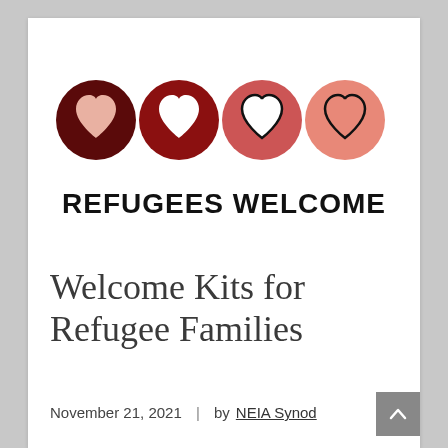[Figure (logo): Four circles in shades of red/dark red to salmon/light pink, each containing a white or outlined heart shape. Logo for 'Refugees Welcome'.]
REFUGEES WELCOME
Welcome Kits for Refugee Families
November 21, 2021  |  by NEIA Synod